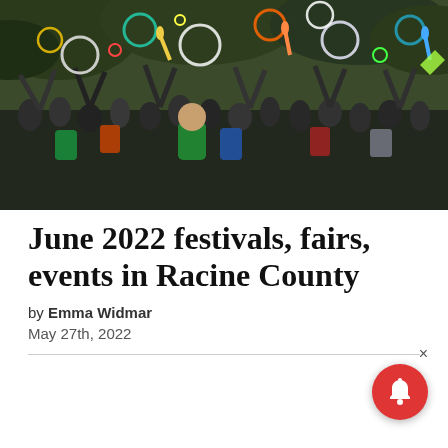[Figure (photo): Large crowd of people at an outdoor festival, many with arms raised, throwing or catching colorful hoops, rings, and objects in the air. Taken in a park setting with trees in the background. Black and white and color clothing mixed. Energetic, joyful atmosphere.]
June 2022 festivals, fairs, events in Racine County
by Emma Widmar
May 27th, 2022